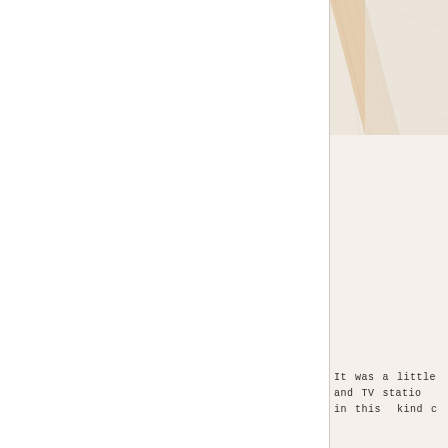[Figure (photo): Partial view of a room interior showing light wood framing or furniture edge against a marble or stone wall surface, cream and beige tones, cropped at right edge of page]
It was a little and TV statio in this kind